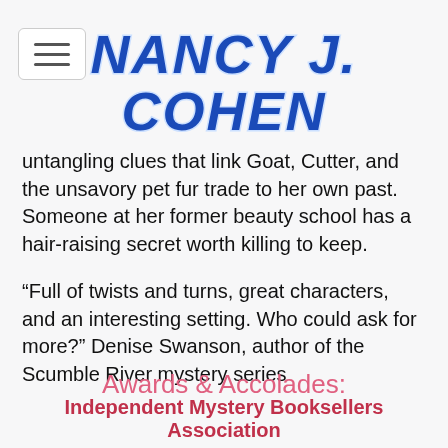Nancy J. Cohen
untangling clues that link Goat, Cutter, and the unsavory pet fur trade to her own past. Someone at her former beauty school has a hair-raising secret worth killing to keep.
“Full of twists and turns, great characters, and an interesting setting. Who could ask for more?” Denise Swanson, author of the Scumble River mystery series
Awards & Accolades:
Independent Mystery Booksellers Association